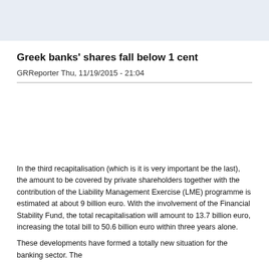[Figure (other): Light blue header banner area at top of page]
Greek banks' shares fall below 1 cent
GRReporter Thu, 11/19/2015 - 21:04
In the third recapitalisation (which is it is very important be the last), the amount to be covered by private shareholders together with the contribution of the Liability Management Exercise (LME) programme is estimated at about 9 billion euro. With the involvement of the Financial Stability Fund, the total recapitalisation will amount to 13.7 billion euro, increasing the total bill to 50.6 billion euro within three years alone.
These developments have formed a totally new situation for the banking sector. The